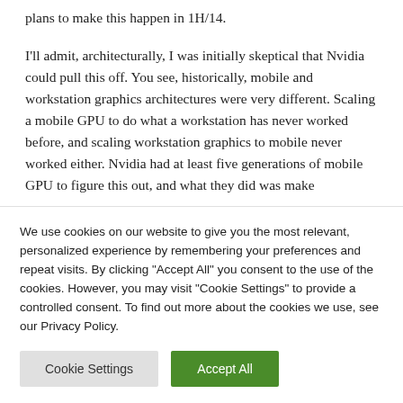plans to make this happen in 1H/14.
I'll admit, architecturally, I was initially skeptical that Nvidia could pull this off. You see, historically, mobile and workstation graphics architectures were very different. Scaling a mobile GPU to do what a workstation has never worked before, and scaling workstation graphics to mobile never worked either. Nvidia had at least five generations of mobile GPU to figure this out, and what they did was make
We use cookies on our website to give you the most relevant, personalized experience by remembering your preferences and repeat visits. By clicking "Accept All" you consent to the use of the cookies. However, you may visit "Cookie Settings" to provide a controlled consent. To find out more about the cookies we use, see our Privacy Policy.
Cookie Settings
Accept All